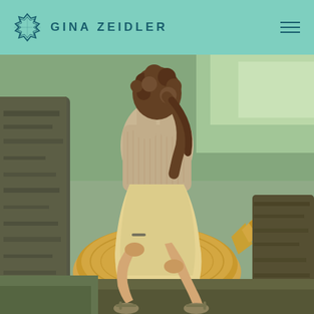GINA ZEIDLER
[Figure (photo): A young woman with curly brown hair sitting on a log stump outdoors, wearing a knit sweater top and light yellow skirt with strappy sandals, surrounded by natural woodland setting with logs and greenery]